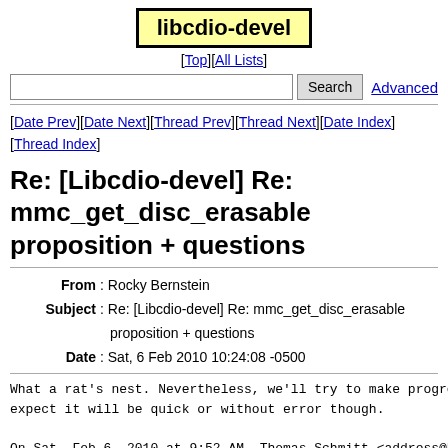libcdio-devel
[Top][All Lists]
Search  Advanced
[Date Prev][Date Next][Thread Prev][Thread Next][Date Index][Thread Index]
Re: [Libcdio-devel] Re: mmc_get_disc_erasable proposition + questions
From: Rocky Bernstein
Subject: Re: [Libcdio-devel] Re: mmc_get_disc_erasable proposition + questions
Date: Sat, 6 Feb 2010 10:24:08 -0500
What a rat's nest. Nevertheless, we'll try to make progre
expect it will be quick or without error though.

On Sat, Feb 6, 2010 at 9:52 AM, Thomas Schmitt <address@h